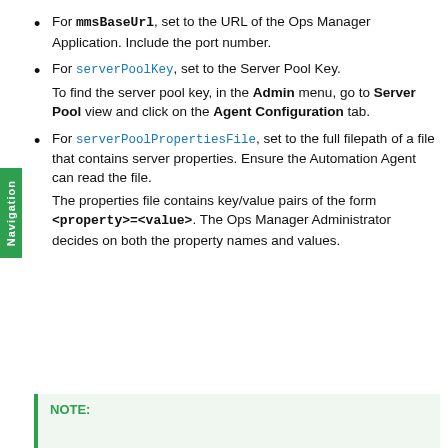For mmsBaseUrl, set to the URL of the Ops Manager Application. Include the port number.
For serverPoolKey, set to the Server Pool Key. To find the server pool key, in the Admin menu, go to Server Pool view and click on the Agent Configuration tab.
For serverPoolPropertiesFile, set to the full filepath of a file that contains server properties. Ensure the Automation Agent can read the file. The properties file contains key/value pairs of the form <property>=<value>. The Ops Manager Administrator decides on both the property names and values.
NOTE: